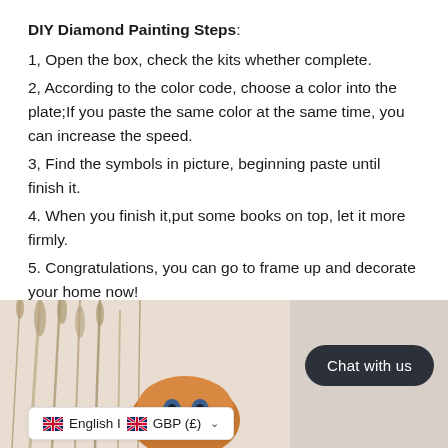DIY Diamond Painting Steps:
1, Open the box, check the kits whether complete.
2, According to the color code, choose a color into the plate;If you paste the same color at the same time, you can increase the speed.
3, Find the symbols in picture, beginning paste until finish it.
4. When you finish it,put some books on top, let it more firmly.
5. Congratulations, you can go to frame up and decorate your home now!
[Figure (photo): Bottom portion showing a partial product photo with reeds and a painted canvas/diamond painting image visible]
Chat with us
English | GBP (£)